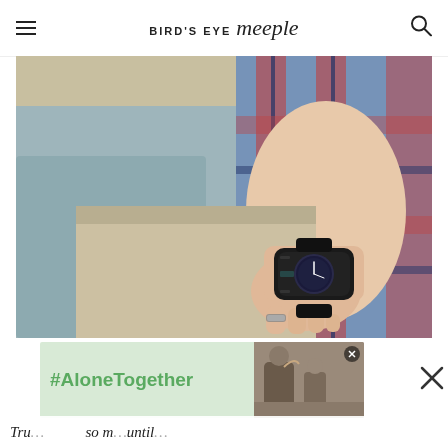BIRD'S EYE meeple
[Figure (photo): Close-up photo of a person's hand and wrist wearing a dark wood watch with a plaid shirt and khaki pants]
[Figure (screenshot): Advertisement banner showing #AloneTogether text with a photo of a family]
Tru... so m...until...